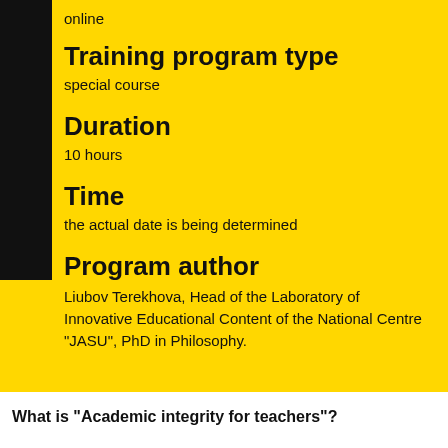online
Training program type
special course
Duration
10 hours
Time
the actual date is being determined
Program author
Liubov Terekhova, Head of the Laboratory of Innovative Educational Content of the National Centre "JASU", PhD in Philosophy.
What is "Academic integrity for teachers"?